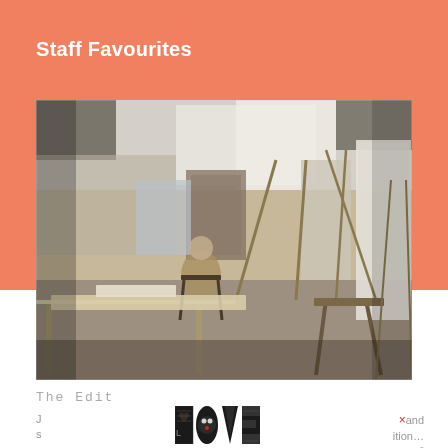Staff Favourites
[Figure (photo): An artist's studio with numerous easels, paintings, and canvases. An elderly person sits in a chair surrounded by artworks and wooden easels.]
The Edit
J
s
[Figure (logo): LOVE logo with decorative illustrated letters]
×and
ition…
ⅲᵉ